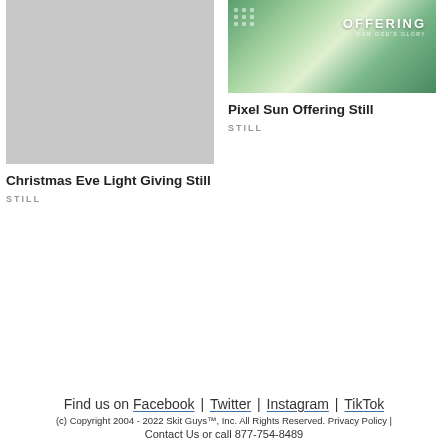[Figure (photo): Gray placeholder image for Christmas Eve Light Giving Still product]
Christmas Eve Light Giving Still
STILL
[Figure (photo): Green pixel/mosaic style image with text OFFERING FOR GOD'S GLORY]
Pixel Sun Offering Still
STILL
Find us on Facebook | Twitter | Instagram | TikTok
(c) Copyright 2004 - 2022 Skit Guys™, Inc. All Rights Reserved. Privacy Policy | Contact Us or call 877-754-8489